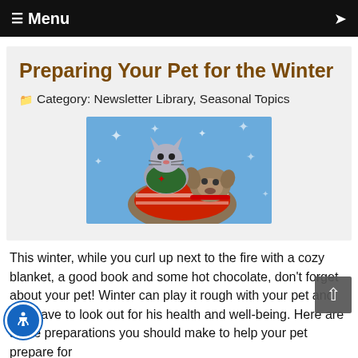≡ Menu
Preparing Your Pet for the Winter
Category: Newsletter Library, Seasonal Topics
[Figure (photo): A sphynx cat wearing a green holiday sweater sitting atop a dog wearing a red and white sweater, posed against a blue snowflake background.]
This winter, while you curl up next to the fire with a cozy blanket, a good book and some hot chocolate, don't forget about your pet! Winter can play it rough with your pet and you have to look out for his health and well-being. Here are some preparations you should make to help your pet prepare for
READ MORE